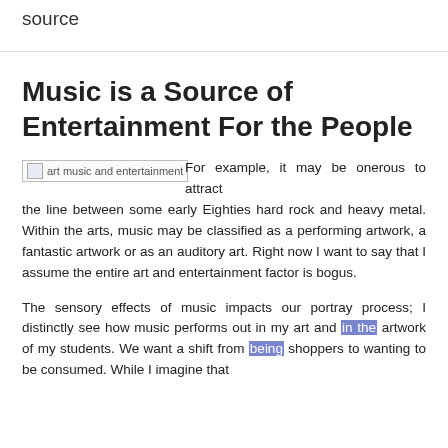source
Music is a Source of Entertainment For the People
[Figure (photo): Broken image placeholder labeled 'art music and entertainment']
For example, it may be onerous to attract the line between some early Eighties hard rock and heavy metal. Within the arts, music may be classified as a performing artwork, a fantastic artwork or as an auditory art. Right now I want to say that I assume the entire art and entertainment factor is bogus.
The sensory effects of music impacts our portray process; I distinctly see how music performs out in my art and in the artwork of my students. We want a shift from being shoppers to wanting to be consumed. While I imagine that